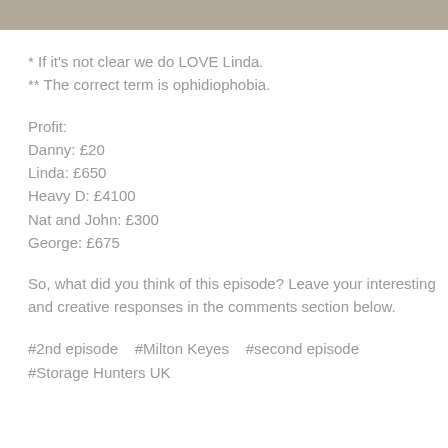[Figure (photo): Partial photo strip at top of page, showing a muted brown/tan textured image cropped to a thin horizontal band.]
* If it's not clear we do LOVE Linda.
** The correct term is ophidiophobia.
Profit:
Danny: £20
Linda: £650
Heavy D: £4100
Nat and John: £300
George: £675
So, what did you think of this episode? Leave your interesting and creative responses in the comments section below.
#2nd episode   #Milton Keyes   #second episode
#Storage Hunters UK